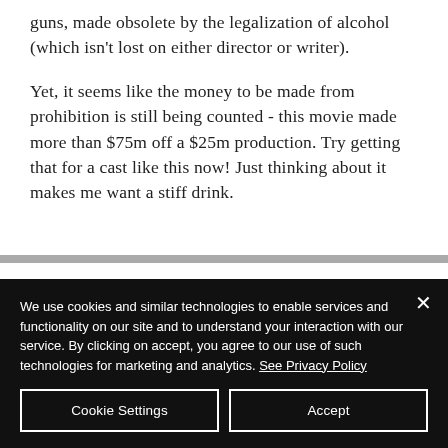guns, made obsolete by the legalization of alcohol (which isn't lost on either director or writer).
Yet, it seems like the money to be made from prohibition is still being counted - this movie made more than $75m off a $25m production. Try getting that for a cast like this now! Just thinking about it makes me want a stiff drink.
We use cookies and similar technologies to enable services and functionality on our site and to understand your interaction with our service. By clicking on accept, you agree to our use of such technologies for marketing and analytics. See Privacy Policy